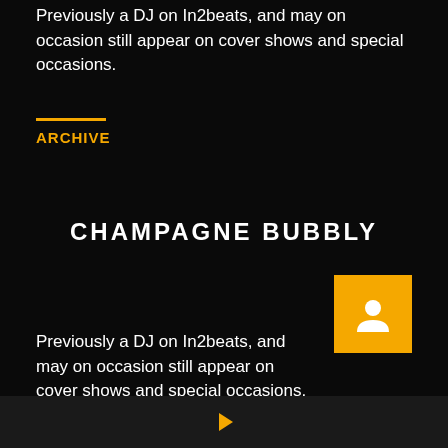Previously a DJ on In2beats, and may on occasion still appear on cover shows and special occasions.
ARCHIVE
CHAMPAGNE BUBBLY
[Figure (illustration): Orange square icon with a person/avatar silhouette symbol in white]
Previously a DJ on In2beats, and may on occasion still appear on cover shows and special occasions.
[Figure (illustration): Yellow/orange play button triangle arrow in footer bar]